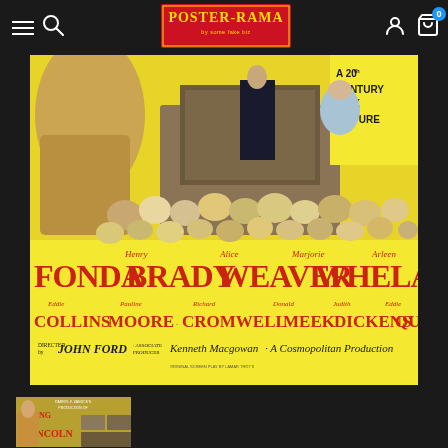Poster-Rama website header with navigation: hamburger menu, search icon, Poster-Rama logo, user icon, cart with badge 0
[Figure (photo): Young Mr. Lincoln (1939) movie lobby card / promotional poster featuring Henry Fonda, Alice Brady, Marjorie Weaver, Arleen Whelan, Eddie Collins, Pauline Moore, Richard Cromwell, Donald Meek, Judith Dickens, Eddie Quillan. Directed by John Ford. Associate Producer Kenneth Macgowan. A Cosmopolitan Production. A 20th Century-Fox Picture. Yellow background with large crowd scene illustration.]
[Figure (photo): Thumbnail of Young Mr. Lincoln movie poster showing a man in period clothing]